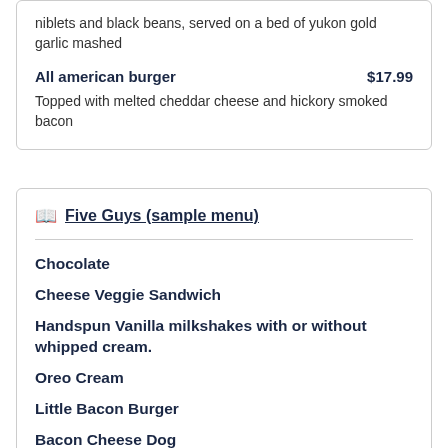niblets and black beans, served on a bed of yukon gold garlic mashed
All american burger $17.99
Topped with melted cheddar cheese and hickory smoked bacon
Five Guys (sample menu)
Chocolate
Cheese Veggie Sandwich
Handspun Vanilla milkshakes with or without whipped cream.
Oreo Cream
Little Bacon Burger
Bacon Cheese Dog